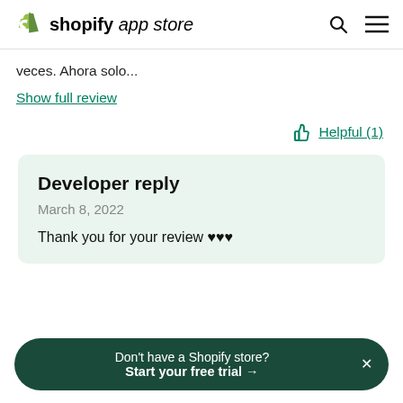shopify app store
veces. Ahora solo...
Show full review
Helpful (1)
Developer reply
March 8, 2022
Thank you for your review ♥♥♥
Don't have a Shopify store? Start your free trial →